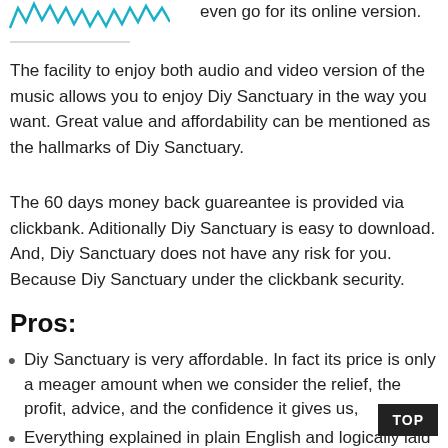[Figure (illustration): Partial logo or decorative image with teal/blue spiky top element and a horizontal line, cropped at top-left]
even go for its online version.
The facility to enjoy both audio and video version of the music allows you to enjoy Diy Sanctuary in the way you want. Great value and affordability can be mentioned as the hallmarks of Diy Sanctuary.
The 60 days money back guareantee is provided via clickbank. Aditionally Diy Sanctuary is easy to download. And, Diy Sanctuary does not have any risk for you. Because Diy Sanctuary under the clickbank security.
Pros:
Diy Sanctuary is very affordable. In fact its price is only a meager amount when we consider the relief, the profit, advice, and the confidence it gives us,
Everything explained in plain English and logically laid out by Diy Sanctuary,
Diy Sanctuary helps one to attain his goal in limited time,
Diy Sanctuary will be the best investment you have ever made.